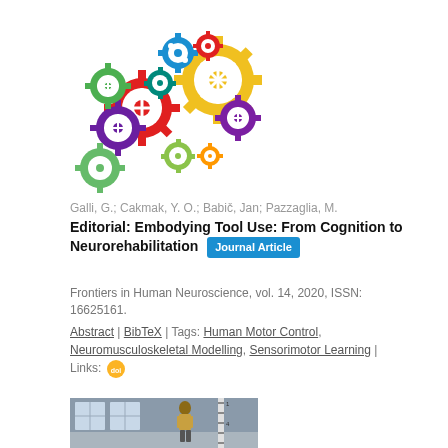[Figure (illustration): Colorful brain made of interlocking gears in various colors (red, green, yellow, blue, purple, teal) arranged in the shape of a brain]
Galli, G.; Cakmak, Y. O.; Babič, Jan; Pazzaglia, M.
Editorial: Embodying Tool Use: From Cognition to Neurorehabilitation  [Journal Article]
Frontiers in Human Neuroscience, vol. 14, 2020, ISSN: 16625161.
Abstract | BibTeX | Tags: Human Motor Control, Neuromusculoskeletal Modelling, Sensorimotor Learning | Links: [doi]
[Figure (photo): Person standing in a corridor or hallway, viewed from side, with a height measurement scale visible on the right side]